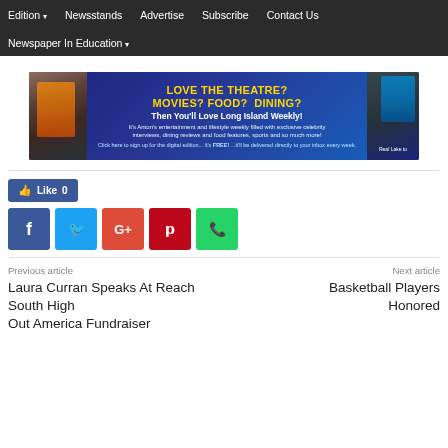Edition ▾   Newsstands   Advertise   Subscribe   Contact Us   Newspaper In Education ▾
[Figure (illustration): Advertisement banner for Long Island Weekly: 'LOVE THE THEATRE? MOVIES? FOOD? DINING? Then You'll Love Long Island Weekly!' with promotional text about entertainment and lifestyle content.]
[Figure (infographic): Facebook Like button showing 'Like 0', followed by social media sharing icons: Facebook (f), Twitter (bird), Google+ (G+), Pinterest (p), WhatsApp (phone).]
Previous article
Next article
Laura Curran Speaks At Reach South High Basketball Players Out America Fundraiser   Honored